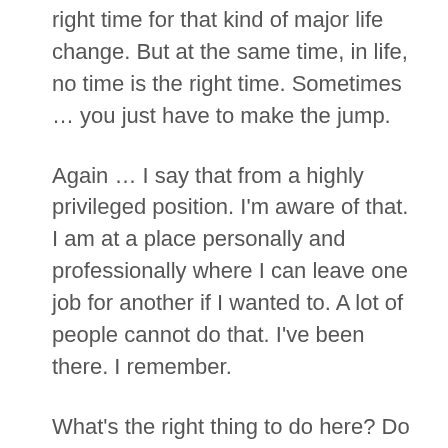right time for that kind of major life change. But at the same time, in life, no time is the right time. Sometimes … you just have to make the jump.
Again … I say that from a highly privileged position. I'm aware of that. I am at a place personally and professionally where I can leave one job for another if I wanted to. A lot of people cannot do that. I've been there. I remember.
What's the right thing to do here? Do I keep pushing myself as hard as I can until I can make writing my full-time career again, but sustainably this time? Maybe. Maybe I can still do good work, but not work so much.
Maybe once I'm done writing this book I just need to take a break from that kind of writing for a bit. It's really